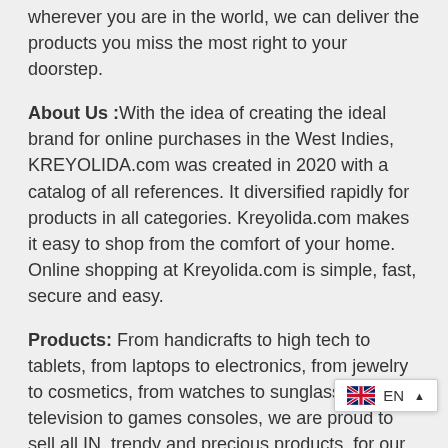wherever you are in the world, we can deliver the products you miss the most right to your doorstep.
About Us :With the idea of creating the ideal brand for online purchases in the West Indies, KREYOLIDA.com was created in 2020 with a catalog of all references. It diversified rapidly for products in all categories. Kreyolida.com makes it easy to shop from the comfort of your home. Online shopping at Kreyolida.com is simple, fast, secure and easy.
Products: From handicrafts to high tech to tablets, from laptops to electronics, from jewelry to cosmetics, from watches to sunglasses, from television to games consoles, we are proud to sell all IN, trendy and precious products. for our customers on Kreyolida... We sell a plethora of items from the... love to buy, including but not limited to Adidas